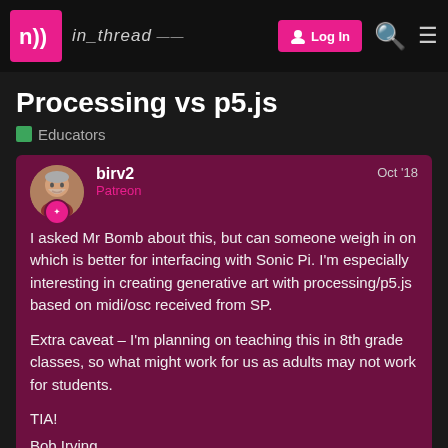in_thread — Log In
Processing vs p5.js
Educators
birv2 Patreon Oct '18
I asked Mr Bomb about this, but can someone weigh in on which is better for interfacing with Sonic Pi. I'm especially interesting in creating generative art with processing/p5.js based on midi/osc received from SP.

Extra caveat – I'm planning on teaching this in 8th grade classes, so what might work for us as adults may not work for students.

TIA!
Bob Irving
Charleson, SC
1 / 9